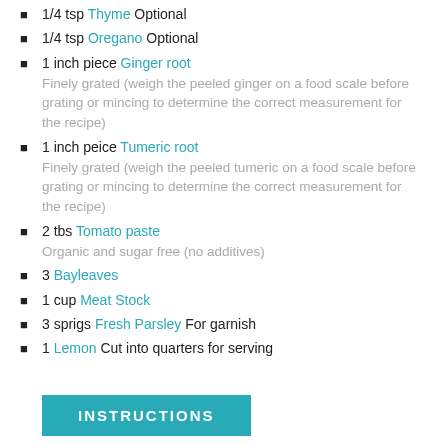1/4 tsp Thyme Optional
1/4 tsp Oregano Optional
1 inch piece Ginger root
Finely grated (weigh the peeled ginger on a food scale before grating or mincing to determine the correct measurement for the recipe)
1 inch peice Tumeric root
Finely grated (weigh the peeled tumeric on a food scale before grating or mincing to determine the correct measurement for the recipe)
2 tbs Tomato paste
Organic and sugar free (no additives)
3 Bayleaves
1 cup Meat Stock
3 sprigs Fresh Parsley For garnish
1 Lemon Cut into quarters for serving
INSTRUCTIONS